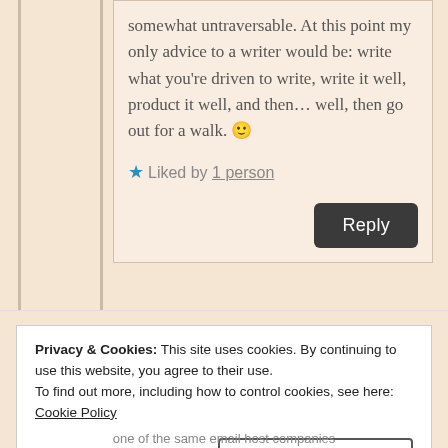somewhat untraversable. At this point my only advice to a writer would be: write what you're driven to write, write it well, product it well, and then… well, then go out for a walk. 🙂
★ Liked by 1 person
Reply
Privacy & Cookies: This site uses cookies. By continuing to use this website, you agree to their use.
To find out more, including how to control cookies, see here: Cookie Policy
Close and accept
one of the same email host companies